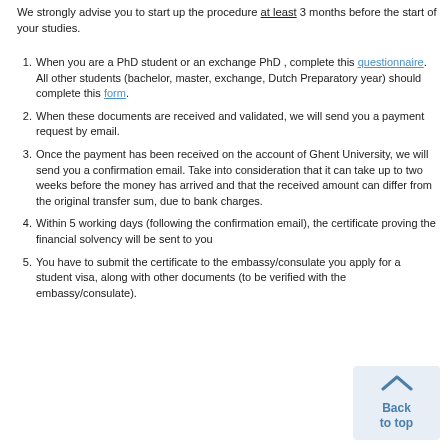We strongly advise you to start up the procedure at least 3 months before the start of your studies.
When you are a PhD student or an exchange PhD , complete this questionnaire. All other students (bachelor, master, exchange, Dutch Preparatory year) should complete this form.
When these documents are received and validated, we will send you a payment request by email.
Once the payment has been received on the account of Ghent University, we will send you a confirmation email. Take into consideration that it can take up to two weeks before the money has arrived and that the received amount can differ from the original transfer sum, due to bank charges.
Within 5 working days (following the confirmation email), the certificate proving the financial solvency will be sent to you
You have to submit the certificate to the embassy/consulate you apply for a student visa, along with other documents (to be verified with the embassy/consulate).